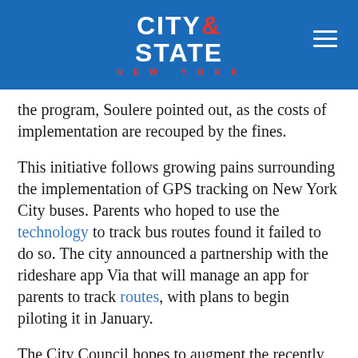CITY & STATE NEW YORK
the program, Soulere pointed out, as the costs of implementation are recouped by the fines.
This initiative follows growing pains surrounding the implementation of GPS tracking on New York City buses. Parents who hoped to use the technology to track bus routes found it failed to do so. The city announced a partnership with the rideshare app Via that will manage an app for parents to track routes, with plans to begin piloting it in January.
The City Council hopes to augment the recently approved GPS measures with a new stop arm camera technology.
Share This: